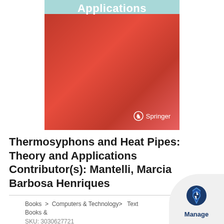[Figure (photo): Book cover of 'Thermosyphons and Heat Pipes: Theory and Applications' published by Springer, with a red gradient background and white 'Applications' text at the top on a teal/aqua bar, and the Springer logo at the bottom right]
Thermosyphons and Heat Pipes: Theory and Applications Contributor(s): Mantelli, Marcia Barbosa Henriques
Books > Computers & Technology> Text Books &
SKU: 3030627721
[Figure (logo): Manage widget - circular blue hexagonal bolt icon with 'Manage' text, on a folded page corner graphic]